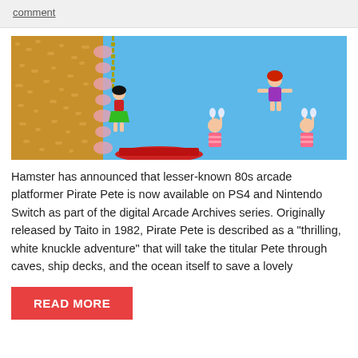comment
[Figure (screenshot): Retro arcade game screenshot of Pirate Pete showing a character swinging on a chain over water with enemies below, blue sky background, sandy cliff on the left side]
Hamster has announced that lesser-known 80s arcade platformer Pirate Pete is now available on PS4 and Nintendo Switch as part of the digital Arcade Archives series. Originally released by Taito in 1982, Pirate Pete is described as a "thrilling, white knuckle adventure" that will take the titular Pete through caves, ship decks, and the ocean itself to save a lovely
READ MORE